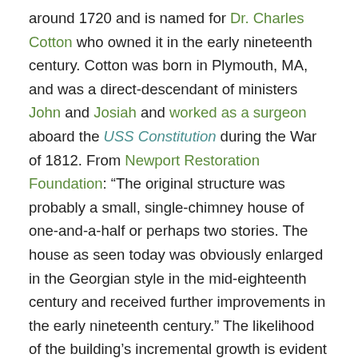around 1720 and is named for Dr. Charles Cotton who owned it in the early nineteenth century. Cotton was born in Plymouth, MA, and was a direct-descendant of ministers John and Josiah and worked as a surgeon aboard the USS Constitution during the War of 1812. From Newport Restoration Foundation: “The original structure was probably a small, single-chimney house of one-and-a-half or perhaps two stories. The house as seen today was obviously enlarged in the Georgian style in the mid-eighteenth century and received further improvements in the early nineteenth century.” The likelihood of the building’s incremental growth is evident from the two chimneys are not of the same size above the roofline, nor are they in line with each other. Had the house been built new in the later Georgian style, elements on the exterior probably would have been more symmetrical and balanced. This building, like the Langley House was moved by Newport Restoration in the 1970s to save it